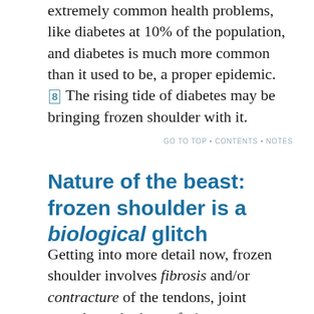extremely common health problems, like diabetes at 10% of the population, and diabetes is much more common than it used to be, a proper epidemic. [8] The rising tide of diabetes may be bringing frozen shoulder with it.
GO TO TOP • CONTENTS • NOTES
Nature of the beast: frozen shoulder is a biological glitch
Getting into more detail now, frozen shoulder involves fibrosis and/or contracture of the tendons, joint capsule, and other soft tissues surrounding the glenohumeral joint — the main ball joint of the shoulder — specifically the